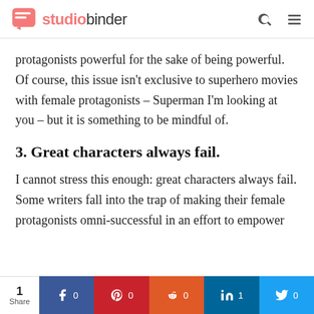studiobinder
protagonists powerful for the sake of being powerful. Of course, this issue isn't exclusive to superhero movies with female protagonists – Superman I'm looking at you – but it is something to be mindful of.
3. Great characters always fail.
I cannot stress this enough: great characters always fail. Some writers fall into the trap of making their female protagonists omni-successful in an effort to empower
1 Share | f 0 | p 0 | reddit 0 | in 1 | Twitter 0